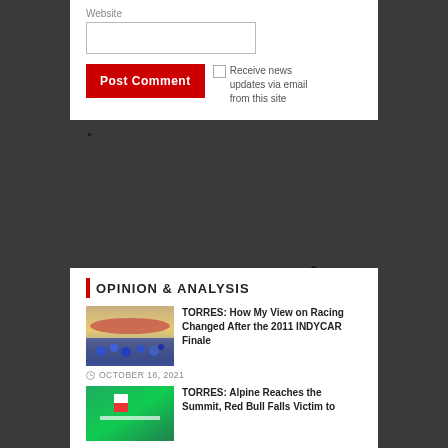Website
Post Comment
Receive news updates via email from this site
OPINION & ANALYSIS
TORRES: How My View on Racing Changed After the 2011 INDYCAR Finale
OCTOBER 16, 2021
[Figure (photo): Crowd at a racing event viewed from behind, with colorful track visible]
TORRES: Alpine Reaches the Summit, Red Bull Falls Victim to
[Figure (photo): Green background with flag or rally imagery]